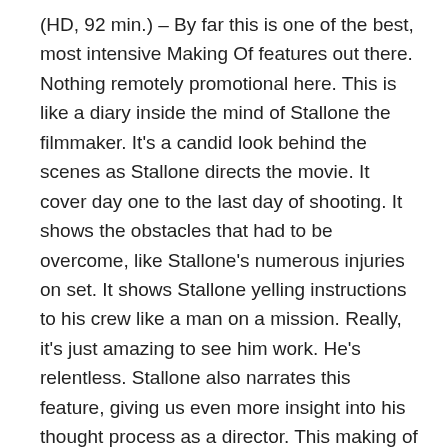(HD, 92 min.) – By far this is one of the best, most intensive Making Of features out there. Nothing remotely promotional here. This is like a diary inside the mind of Stallone the filmmaker. It's a candid look behind the scenes as Stallone directs the movie. It cover day one to the last day of shooting. It shows the obstacles that had to be overcome, like Stallone's numerous injuries on set. It shows Stallone yelling instructions to his crew like a man on a mission. Really, it's just amazing to see him work. He's relentless. Stallone also narrates this feature, giving us even more insight into his thought process as a director. This making of is almost as enjoyable as the movie itself.